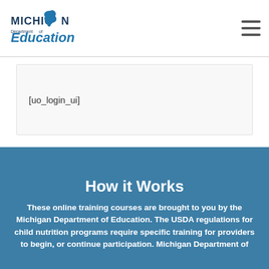[Figure (logo): Michigan Department of Education logo with state outline above text]
[uo_login_ui]
How it Works
These online training courses are brought to you by the Michigan Department of Education. The USDA regulations for child nutrition programs require specific training for providers to begin, or continue participation. Michigan Department of